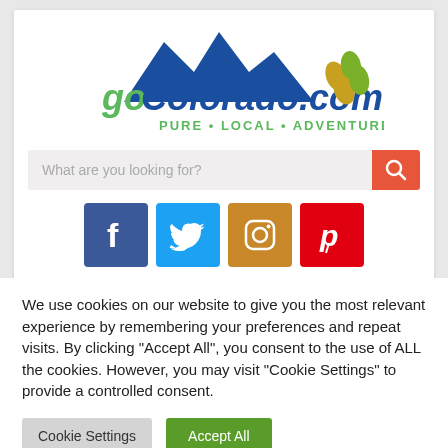[Figure (logo): goColorado.com logo with blue mountain silhouette, green and blue text reading 'goColorado.com', tagline 'PURE • LOCAL • ADVENTURE' in green, and two footprint icons in orange-green on the right]
What are you looking for?
[Figure (screenshot): Social media icons row: Facebook (blue), Twitter (light blue), Instagram (orange-brown), Pinterest (red)]
We use cookies on our website to give you the most relevant experience by remembering your preferences and repeat visits. By clicking "Accept All", you consent to the use of ALL the cookies. However, you may visit "Cookie Settings" to provide a controlled consent.
Cookie Settings
Accept All